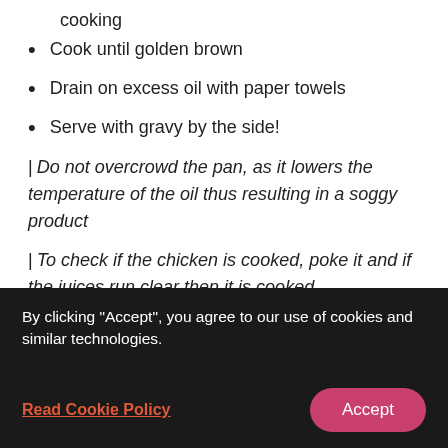cooking
Cook until golden brown
Drain on excess oil with paper towels
Serve with gravy by the side!
| Do not overcrowd the pan, as it lowers the temperature of the oil thus resulting in a soggy product
| To check if the chicken is cooked, poke it and if the juices run clear then it is cooked.
| Make sure that your oil is hot enough, but not
By clicking "Accept", you agree to our use of cookies and similar technologies.
Read Cookie Policy
Accept